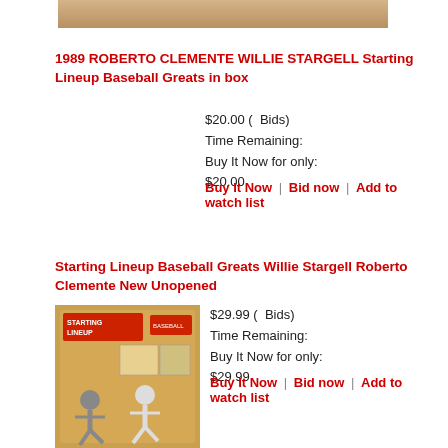[Figure (photo): Partial photo of a baseball collectible item visible at top of page]
1989 ROBERTO CLEMENTE WILLIE STARGELL Starting Lineup Baseball Greats in box
$20.00 (  Bids)
Time Remaining:
Buy It Now for only:
$20.00
Buy It Now | Bid now | Add to watch list
Starting Lineup Baseball Greats Willie Stargell Roberto Clemente New Unopened
[Figure (photo): Photo of Starting Lineup Baseball Greats Willie Stargell Roberto Clemente collectible figure set in original packaging]
$29.99 (  Bids)
Time Remaining:
Buy It Now for only:
$29.99
Buy It Now | Bid now | Add to watch list